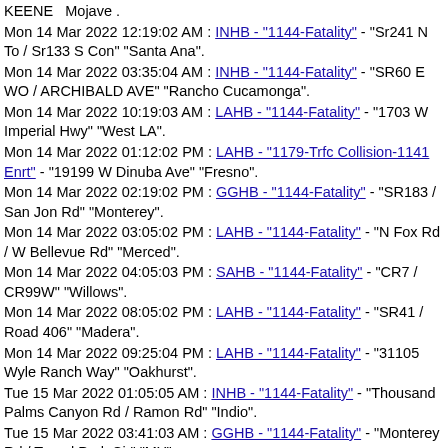KEENE  Mojave .
Mon 14 Mar 2022 12:19:02 AM : INHB - "1144-Fatality" - "Sr241 N To / Sr133 S Con" "Santa Ana".
Mon 14 Mar 2022 03:35:04 AM : INHB - "1144-Fatality" - "SR60 E WO / ARCHIBALD AVE" "Rancho Cucamonga".
Mon 14 Mar 2022 10:19:03 AM : LAHB - "1144-Fatality" - "1703 W Imperial Hwy" "West LA".
Mon 14 Mar 2022 01:12:02 PM : LAHB - "1179-Trfc Collision-1141 Enrt" - "19199 W Dinuba Ave" "Fresno".
Mon 14 Mar 2022 02:19:02 PM : GGHB - "1144-Fatality" - "SR183 / San Jon Rd" "Monterey".
Mon 14 Mar 2022 03:05:02 PM : LAHB - "1144-Fatality" - "N Fox Rd / W Bellevue Rd" "Merced".
Mon 14 Mar 2022 04:05:03 PM : SAHB - "1144-Fatality" - "CR7 / CR99W" "Willows".
Mon 14 Mar 2022 08:05:02 PM : LAHB - "1144-Fatality" - "SR41 / Road 406" "Madera".
Mon 14 Mar 2022 09:25:04 PM : LAHB - "1144-Fatality" - "31105 Wyle Ranch Way" "Oakhurst".
Tue 15 Mar 2022 01:05:05 AM : INHB - "1144-Fatality" - "Thousand Palms Canyon Rd / Ramon Rd" "Indio".
Tue 15 Mar 2022 03:41:03 AM : GGHB - "1144-Fatality" - "Monterey Rd / Travel Park Cir" "MY".
Tue 15 Mar 2022 06:25:02 AM : INHB - "1179-Trfc Collision-1141 Enrt" - "2228 Reche Rd" "Oceanside".
Tue 15 Mar 2022 08:05:02 AM : INHB - "1144-Fatality" - "I215 N...